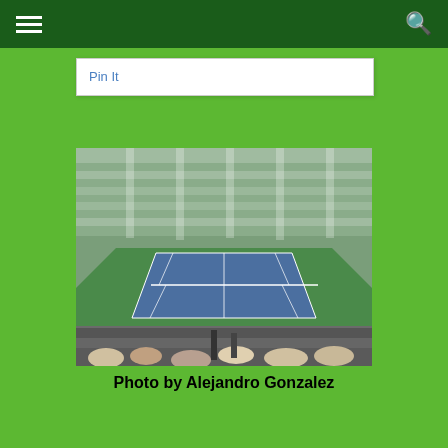Pin It
[Figure (photo): Aerial view of a packed tennis stadium with a blue hard court, surrounded by crowded spectator stands. Spectators visible in the foreground.]
Photo by Alejandro Gonzalez